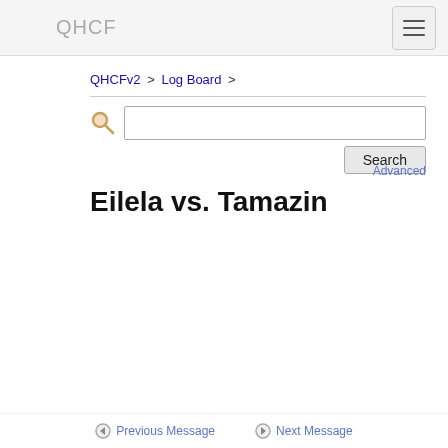QHCF
QHCFv2 > Log Board >
Eilela vs. Tamazin
Previous Message   Next Message